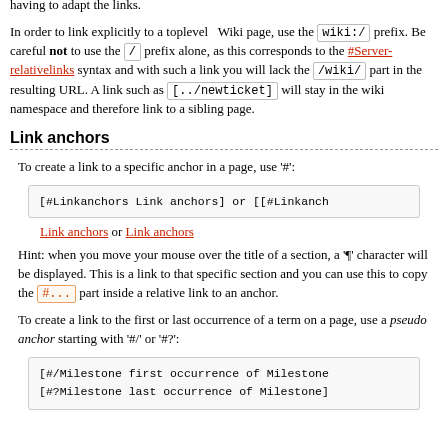hierarchy, a sibling page will be targeted in preference to a toplevel page. This makes it easy to copy or move pages to a sub-hierarchy by renaming without having to adapt the links.
In order to link explicitly to a toplevel Wiki page, use the wiki:/ prefix. Be careful not to use the / prefix alone, as this corresponds to the #Server-relativelinks syntax and with such a link you will lack the /wiki/ part in the resulting URL. A link such as [../newticket] will stay in the wiki namespace and therefore link to a sibling page.
Link anchors
To create a link to a specific anchor in a page, use '#':
[#Linkanchors Link anchors] or [[#Linkanch
Link anchors or Link anchors
Hint: when you move your mouse over the title of a section, a '¶' character will be displayed. This is a link to that specific section and you can use this to copy the #... part inside a relative link to an anchor.
To create a link to the first or last occurrence of a term on a page, use a pseudo anchor starting with '#/' or '#?':
[#/Milestone first occurrence of Milestone
[#?Milestone last occurrence of Milestone]